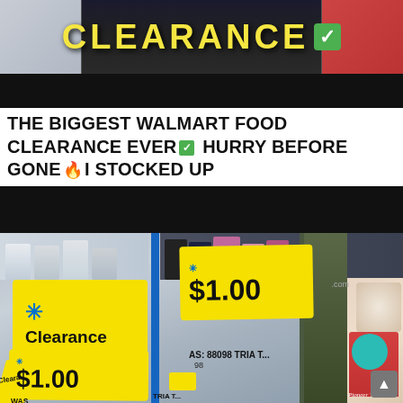[Figure (photo): Walmart clearance banner sign with yellow CLEARANCE text and green checkmark, food products in background, black bar below]
THE BIGGEST WALMART FOOD CLEARANCE EVER ✅ HURRY BEFORE GONE 🔥 I STOCKED UP
[Figure (photo): Walmart store scene with yellow clearance price tags showing $1.00, Walmart spark logo, Clearance label tags, Pioneer Woman product in background]